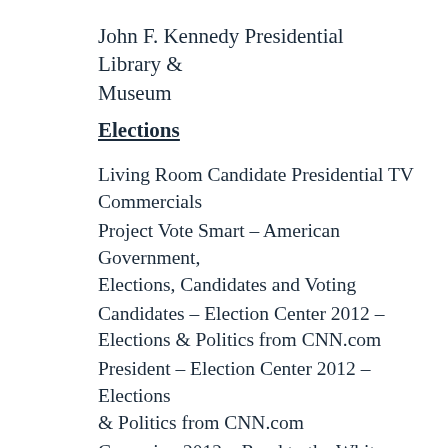John F. Kennedy Presidential Library & Museum
Elections
Living Room Candidate Presidential TV Commercials
Project Vote Smart – American Government, Elections, Candidates and Voting
Candidates – Election Center 2012 – Elections & Politics from CNN.com
President – Election Center 2012 – Elections & Politics from CNN.com
Campaign 2012 – Road to the White House | C–SPAN
Lesson Idea: Constitution Clips | C–SPAN Classroom
Congressional Chronicle – C–SPAN Video